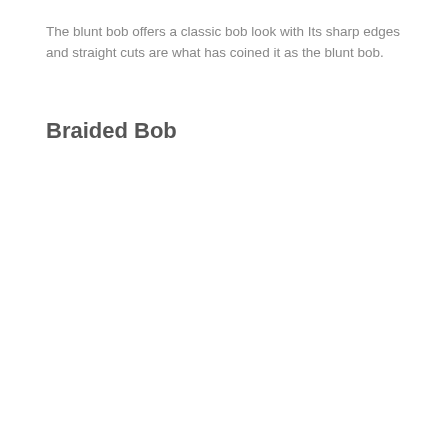The blunt bob offers a classic bob look with Its sharp edges and straight cuts are what has coined it as the blunt bob.
Braided Bob